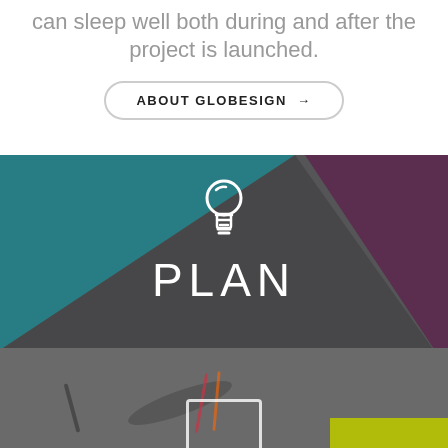can sleep well both during and after the project is launched.
ABOUT GLOBESIGN →
[Figure (illustration): White lightbulb icon on dark background]
PLAN
[Figure (photo): Bottom section showing a desk with design materials, colored overlapping geometric shapes in teal, dark gray and purple, with a tablet frame outline at the bottom center and a yellow-green bar at bottom right]